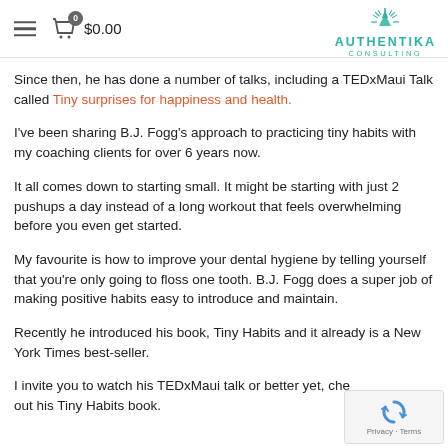☰  0  $0.00   AUTHENTIKA CONSULTING
Since then, he has done a number of talks, including a TEDxMaui Talk called Tiny surprises for happiness and health.
I've been sharing B.J. Fogg's approach to practicing tiny habits with my coaching clients for over 6 years now.
It all comes down to starting small. It might be starting with just 2 pushups a day instead of a long workout that feels overwhelming before you even get started.
My favourite is how to improve your dental hygiene by telling yourself that you're only going to floss one tooth. B.J. Fogg does a super job of making positive habits easy to introduce and maintain.
Recently he introduced his book, Tiny Habits and it already is a New York Times best-seller.
I invite you to watch his TEDxMaui talk or better yet, check out his Tiny Habits book.